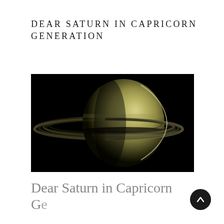DEAR SATURN IN CAPRICORN GENERATION
[Figure (photo): Photograph of Saturn with its rings visible against a black background, lit from the right side showing a crescent of yellowish-green light on the planet's surface]
Dear Saturn in Capricorn Generation